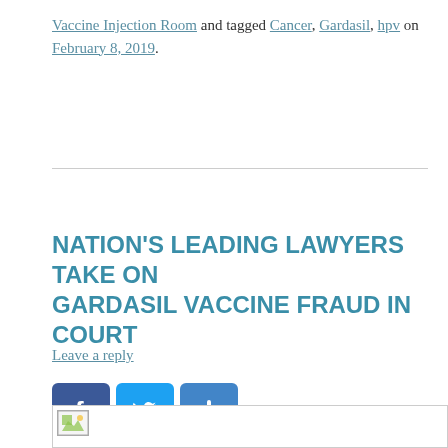Vaccine Injection Room and tagged Cancer, Gardasil, hpv on February 8, 2019.
NATION'S LEADING LAWYERS TAKE ON GARDASIL VACCINE FRAUD IN COURT
Leave a reply
[Figure (other): Social sharing buttons: Facebook, Twitter, and a plus/more button]
[Figure (photo): Partially visible image at bottom of page, content not visible]